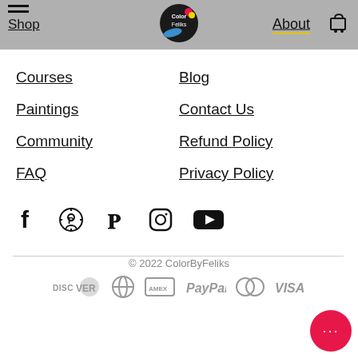Shop | ColorByFeliks | About
Courses
Blog
Paintings
Contact Us
Community
Refund Policy
FAQ
Privacy Policy
[Figure (infographic): Social media icons: Facebook, Pinterest, Instagram, YouTube]
© 2022 ColorByFeliks
[Figure (infographic): Payment method logos: Discover, Diners Club, American Express, PayPal, Mastercard, Visa]